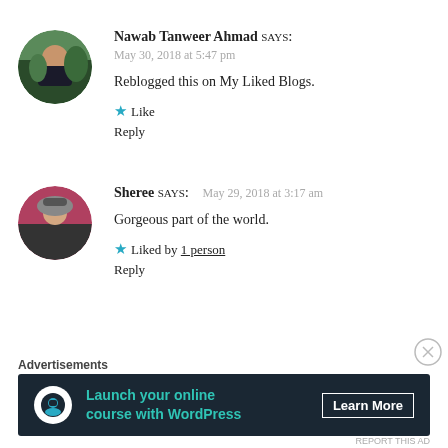[Figure (photo): Circular avatar photo of Nawab Tanweer Ahmad, a man in front of green trees]
Nawab Tanweer Ahmad says:
May 30, 2018 at 5:47 pm
Reblogged this on My Liked Blogs.
★ Like
Reply
[Figure (photo): Circular avatar photo of Sheree, a person wearing a cycling helmet]
Sheree says:  May 29, 2018 at 3:17 am
Gorgeous part of the world.
★ Liked by 1 person
Reply
Advertisements
[Figure (infographic): Dark banner advertisement: Launch your online course with WordPress — Learn More button]